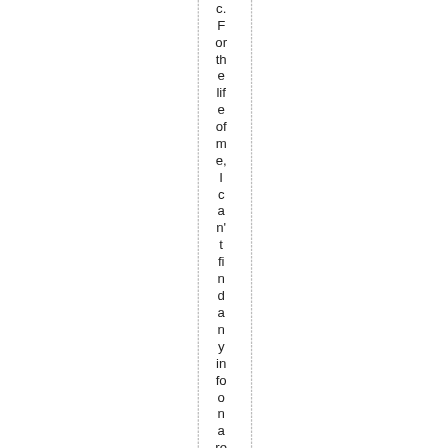c. For the life of me, I can't find any info on a red ddie s